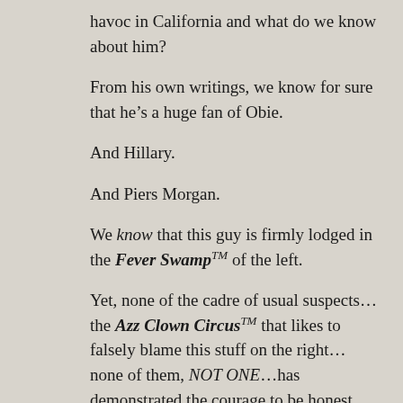havoc in California and what do we know about him?
From his own writings, we know for sure that he’s a huge fan of Obie.
And Hillary.
And Piers Morgan.
We know that this guy is firmly lodged in the Fever Swamp™ of the left.
Yet, none of the cadre of usual suspects…the Azz Clown Circus™ that likes to falsely blame this stuff on the right…none of them, NOT ONE…has demonstrated the courage to be honest about this guy and his ideology.